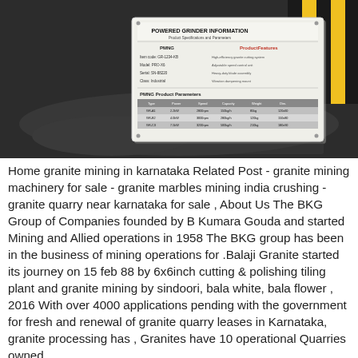[Figure (photo): Photo of a product information placard/sign placed on a dark reflective surface (table), with yellow and black striped safety barrier visible in the top-right corner. The placard shows text including headings and a table of product parameters.]
Home granite mining in karnataka Related Post - granite mining machinery for sale - granite marbles mining india crushing - granite quarry near karnataka for sale , About Us The BKG Group of Companies founded by B Kumara Gouda and started Mining and Allied operations in 1958 The BKG group has been in the business of mining operations for .Balaji Granite started its journey on 15 feb 88 by 6x6inch cutting & polishing tiling plant and granite mining by sindoori, bala white, bala flower , 2016 With over 4000 applications pending with the government for fresh and renewal of granite quarry leases in Karnataka, granite processing has , Granites have 10 operational Quarries owned